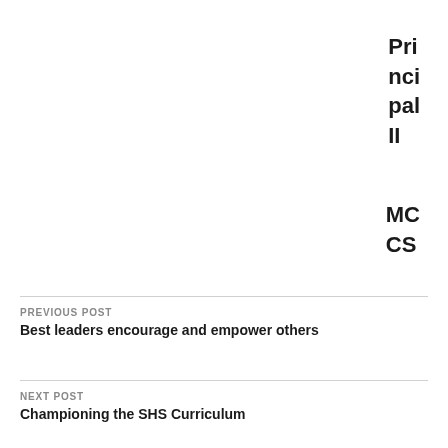Principal II
MCCS
PREVIOUS POST
Best leaders encourage and empower others
NEXT POST
Championing the SHS Curriculum